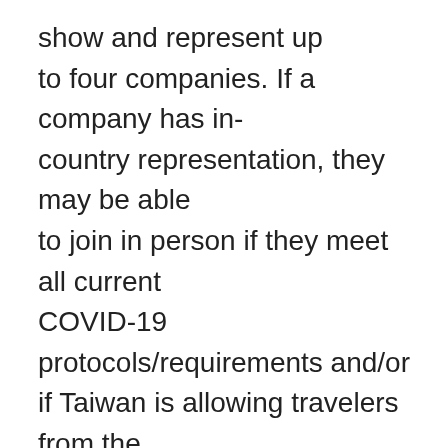show and represent up to four companies. If a company has in-country representation, they may be able to join in person if they meet all current COVID-19 protocols/requirements and/or if Taiwan is allowing travelers from the U.S. In addition, if your company is grant eligible, there is a $1,500 stipend for eligible expenses (travel-other than that by an employee located in Taipei, shipping, etc.) Participants not able to have a representative at the show will be provided all the contacts made on their